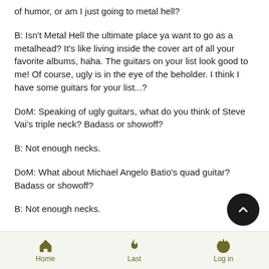of humor, or am I just going to metal hell?
B: Isn't Metal Hell the ultimate place ya want to go as a metalhead? It's like living inside the cover art of all your favorite albums, haha. The guitars on your list look good to me! Of course, ugly is in the eye of the beholder. I think I have some guitars for your list...?
DoM: Speaking of ugly guitars, what do you think of Steve Vai's triple neck? Badass or showoff?
B: Not enough necks.
DoM: What about Michael Angelo Batio's quad guitar? Badass or showoff?
B: Not enough necks.
Home   Last   Log in